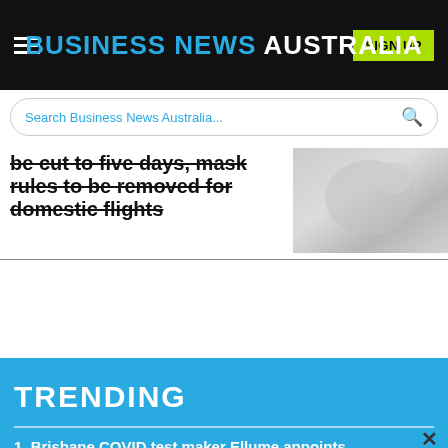BUSINESS NEWS AUSTRALIA
Search Business News Australia...
be cut to five days, mask rules to be removed for domestic flights
[Figure (photo): Blurred gray-toned photo, appears to be a close-up image related to the news article]
TRENDING
1. Brisbane COVID test maker Ellume appoints